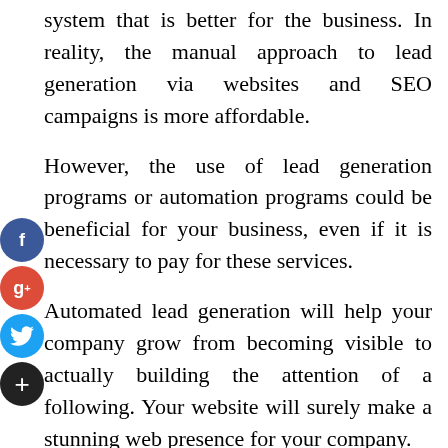system that is better for the business. In reality, the manual approach to lead generation via websites and SEO campaigns is more affordable.
However, the use of lead generation programs or automation programs could be beneficial for your business, even if it is necessary to pay for these services.
Automated lead generation will help your company grow from becoming visible to actually building the attention of a following. Your website will surely make a stunning web presence for your company.